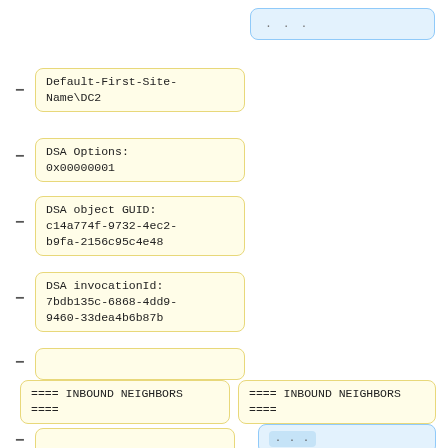[Figure (flowchart): A tree/diagram view showing expandable nodes with yellow and blue bordered boxes. Top-right: a blue box with '...' and a '+' expand button. Left column shows several yellow boxes with minus (-) collapse buttons: 'Default-First-Site-Name\DC2', 'DSA Options: 0x00000001', 'DSA object GUID: c14a774f-9732-4ec2-b9fa-2156c95c4e48', 'DSA invocationId: 7bdb135c-6868-4dd9-9460-33dea4b6b87b', an empty box, and '==== INBOUND NEIGHBORS ===='. Right column shows a yellow box '==== INBOUND NEIGHBORS ====' and a blue box with small '...' and '+' button. Bottom shows partial yellow boxes.]